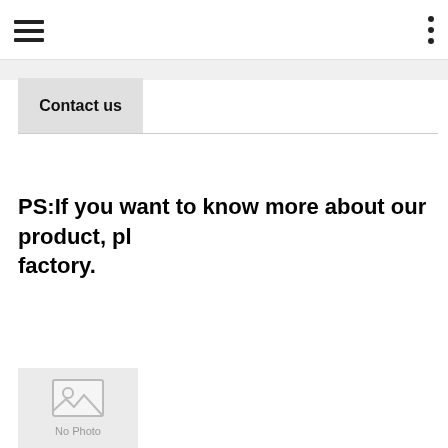Contact us
PS:If you want to know more about our product, pl... factory.
[Figure (photo): No Photo placeholder image with mountain/sun icon and 'No Photo' label]